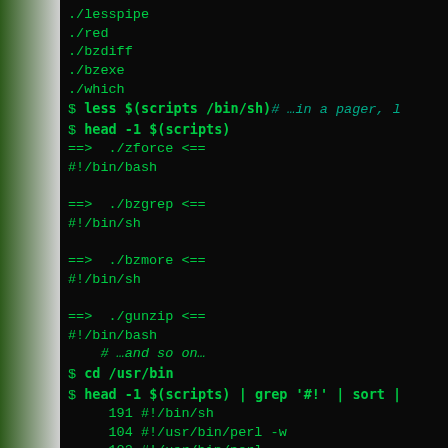[Figure (screenshot): Terminal screenshot showing shell script shebang lines and command output on black background with green monospace text]
./lesspipe
./red
./bzdiff
./bzexe
./which
$ less $(scripts /bin/sh)# ...in a pager, l
$ head -1 $(scripts)
==> ./zforce <==
#!/bin/bash

==> ./bzgrep <==
#!/bin/sh

==> ./bzmore <==
#!/bin/sh

==> ./gunzip <==
#!/bin/bash
    # ...and so on...
$ cd /usr/bin
$ head -1 $(scripts) | grep '#!' | sort |
     191 #!/bin/sh
     104 #!/usr/bin/perl -w
     102 #!/usr/bin/perl
      58 #! /usr/bin/python    # about that
      53 #! /bin/sh
     # ...38 variants overall, with some of
       7 #!/usr/bin/ruby1.9.1
       3 #!/usr/bin/fontforge -lang=ff
       2 #!/usr/bin/pypy